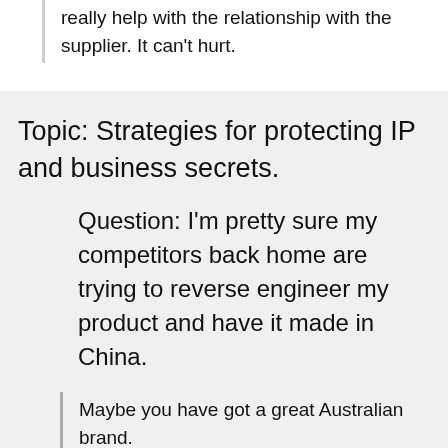really help with the relationship with the supplier. It can't hurt.
Topic:  Strategies for protecting IP and business secrets.
Question:  I'm pretty sure my competitors back home are trying to reverse engineer my product and have it made in China.
Maybe you have got a great Australian brand.